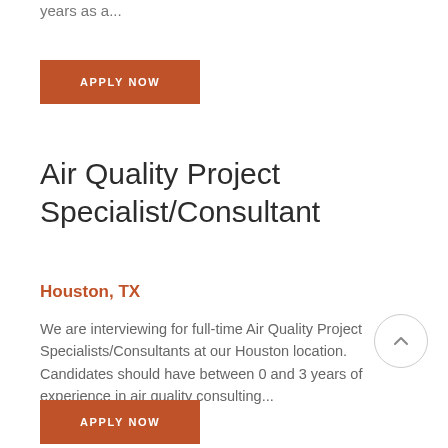years as a...
APPLY NOW
Air Quality Project Specialist/Consultant
Houston, TX
We are interviewing for full-time Air Quality Project Specialists/Consultants at our Houston location. Candidates should have between 0 and 3 years of experience in air quality consulting...
APPLY NOW